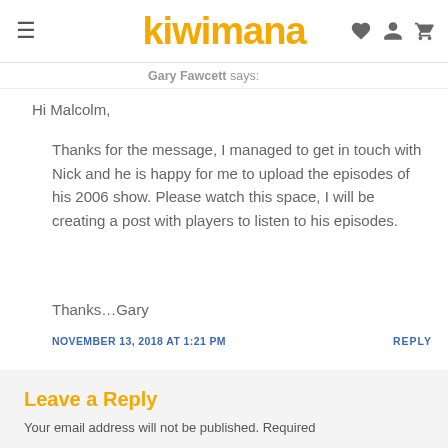kiwimana
Gary Fawcett says:
Hi Malcolm,
Thanks for the message, I managed to get in touch with Nick and he is happy for me to upload the episodes of his 2006 show. Please watch this space, I will be creating a post with players to listen to his episodes.
Thanks…Gary
NOVEMBER 13, 2018 AT 1:21 PM
REPLY
Leave a Reply
Your email address will not be published. Required